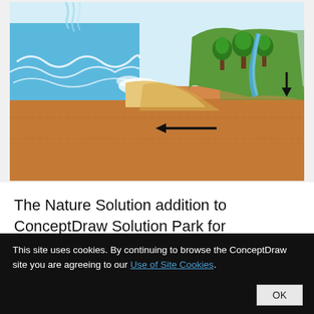[Figure (illustration): A cross-section environmental illustration showing a coastal/geological scene with ocean waves crashing on the left, a sandy beach/delta area in the middle, green terrain with trees on the right, groundwater flow arrows pointing left underground, and a downward arrow indicating infiltration on the right side. The underground section is shown in brown/tan earth tones.]
The Nature Solution addition to ConceptDraw Solution Park for ConceptDraw PRO includes new libraries that provide a wide range nature objects and it can be used in many areas.
This site uses cookies. By continuing to browse the ConceptDraw site you are agreeing to our Use of Site Cookies.